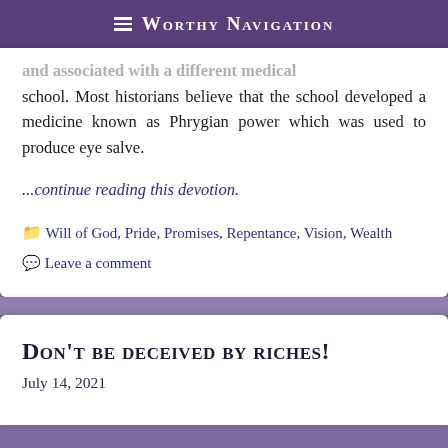≡ Worthy Navigation
school. Most historians believe that the school developed a medicine known as Phrygian power which was used to produce eye salve.
...continue reading this devotion.
Will of God, Pride, Promises, Repentance, Vision, Wealth
Leave a comment
Don't be deceived by riches!
July 14, 2021